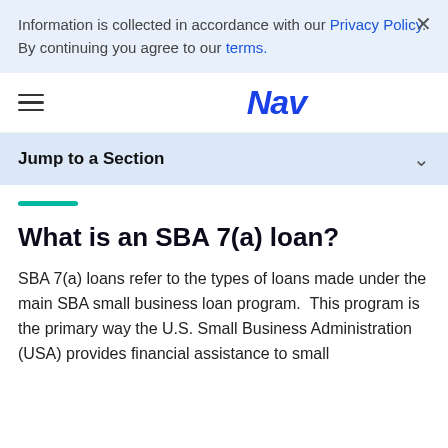Information is collected in accordance with our Privacy Policy. By continuing you agree to our terms.
Nav
Jump to a Section
What is an SBA 7(a) loan?
SBA 7(a) loans refer to the types of loans made under the main SBA small business loan program.  This program is the primary way the U.S. Small Business Administration (USA) provides financial assistance to small